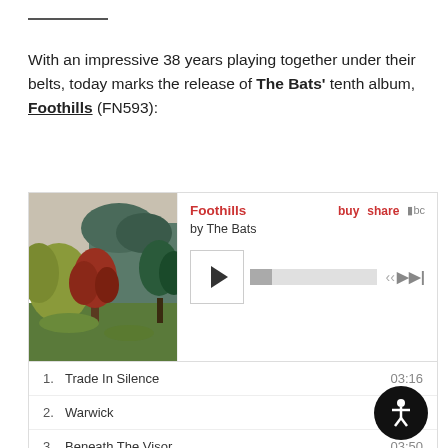With an impressive 38 years playing together under their belts, today marks the release of The Bats' tenth album, Foothills (FN593):
[Figure (screenshot): Bandcamp music player widget showing The Bats' album 'Foothills' with album artwork (landscape with trees), play button, progress bar, track listing including: 1. Trade In Silence 03:16, 2. Warwick 02:40, 3. Beneath The Visor 03:50, 4. Scrolling, 5. Another Door 03:15]